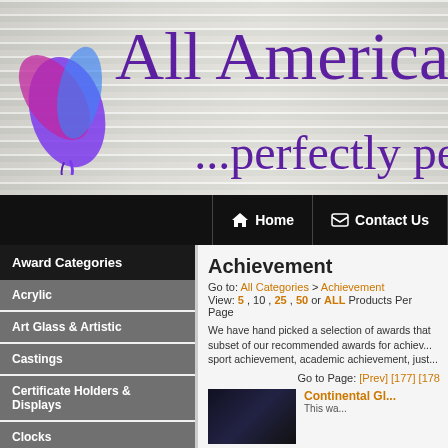[Figure (screenshot): Website banner for All American Trophies with watercolor leaf logo on wood-grain background, purple cursive script reading 'All American T...' and '...perfectly pe...']
Home | Contact Us
Award Categories
Acrylic
Art Glass & Artistic
Castings
Certificate Holders & Displays
Clocks
Corporate Plaques
Achievement
Go to: All Categories > Achievement
View: 5 , 10 , 25 , 50 or ALL Products Per Page
We have hand picked a selection of awards that subset of our recommended awards for achievement, sport achievement, academic achievement, just...
Go to Page: [Prev] [177] [178...
Continental Gl...
This wa...